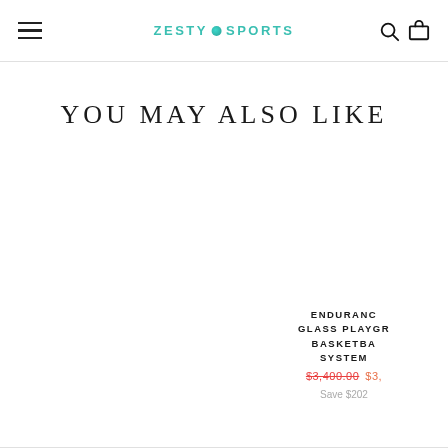ZESTY SPORTS
YOU MAY ALSO LIKE
ENDURANCE GLASS PLAYGROUND BASKETBALL SYSTEM $3,400.00 $3,— Save $202—